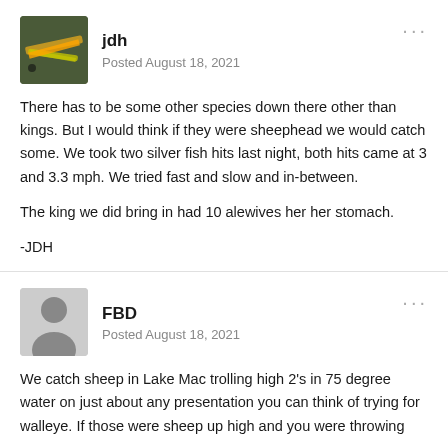jdh
Posted August 18, 2021
There has to be some other species down there other than kings.  But I would think if they were sheephead we would catch some.  We took two silver fish hits last night, both hits came at 3 and 3.3 mph.  We tried fast and slow and in-between.

The king we did bring in had 10 alewives her her stomach.

-JDH
FBD
Posted August 18, 2021
We catch sheep in Lake Mac trolling high 2's in 75 degree water on just about any presentation you can think of trying for walleve.  If those were sheep up high and you were throwing